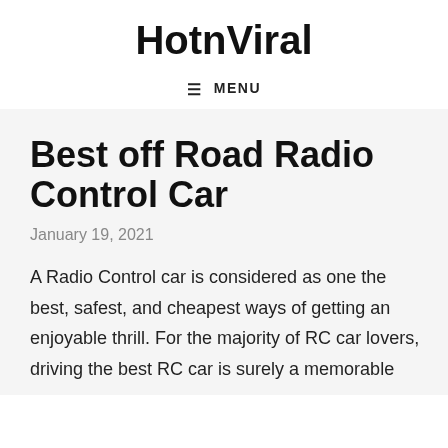HotnViral
≡ MENU
Best off Road Radio Control Car
January 19, 2021
A Radio Control car is considered as one the best, safest, and cheapest ways of getting an enjoyable thrill. For the majority of RC car lovers, driving the best RC car is surely a memorable